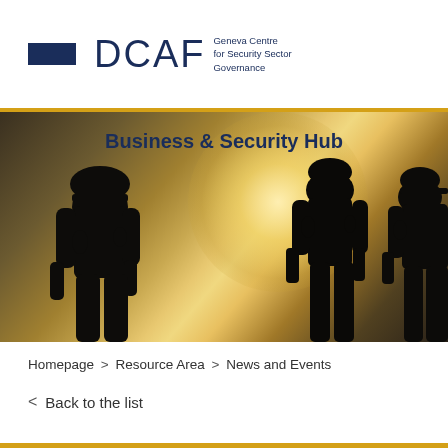[Figure (logo): DCAF Geneva Centre for Security Sector Governance logo with blue rectangle accent and DCAF lettering]
[Figure (photo): Banner image showing silhouettes of three armed soldiers/security personnel against a warm glowing background sky, with 'Business & Security Hub' title overlay]
Homepage > Resource Area > News and Events
< Back to the list